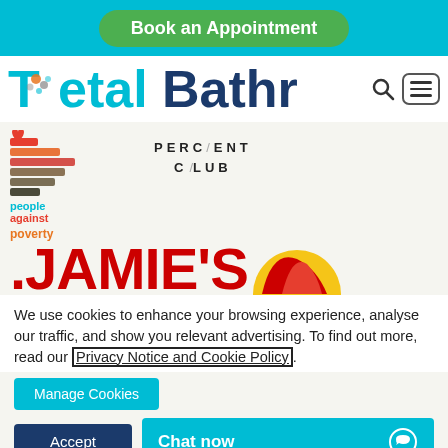Book an Appointment
[Figure (logo): Total Bathrooms logo with search and menu icons]
[Figure (logo): People Against Poverty logo and Percent Club logo]
[Figure (logo): Jamie's Farm logo partial (red text, red/yellow circular design)]
We use cookies to enhance your browsing experience, analyse our traffic, and show you relevant advertising. To find out more, read our Privacy Notice and Cookie Policy.
Manage Cookies
Accept
Chat now